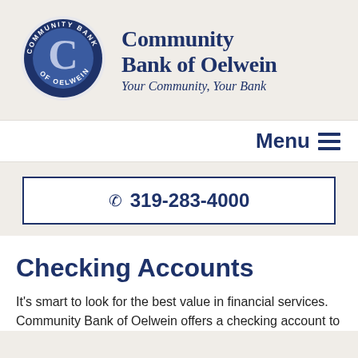[Figure (logo): Community Bank of Oelwein circular logo with a large C letter in the center on a blue background, surrounded by text 'COMMUNITY BANK OF OELWEIN']
Community Bank of Oelwein
Your Community, Your Bank
Menu ≡
☎ 319-283-4000
Checking Accounts
It's smart to look for the best value in financial services. Community Bank of Oelwein offers a checking account to